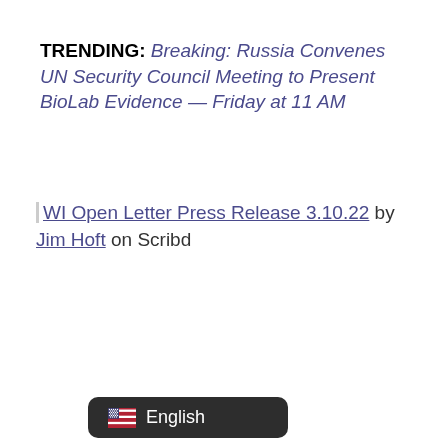TRENDING: Breaking: Russia Convenes UN Security Council Meeting to Present BioLab Evidence — Friday at 11 AM
WI Open Letter Press Release 3.10.22 by Jim Hoft on Scribd
English